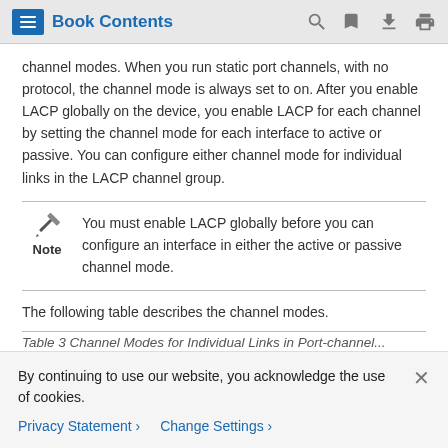Book Contents
channel modes. When you run static port channels, with no protocol, the channel mode is always set to on. After you enable LACP globally on the device, you enable LACP for each channel by setting the channel mode for each interface to active or passive. You can configure either channel mode for individual links in the LACP channel group.
Note: You must enable LACP globally before you can configure an interface in either the active or passive channel mode.
The following table describes the channel modes.
Table 3 Channel Modes for Individual Links in Port-channel...
By continuing to use our website, you acknowledge the use of cookies.
Privacy Statement > Change Settings >